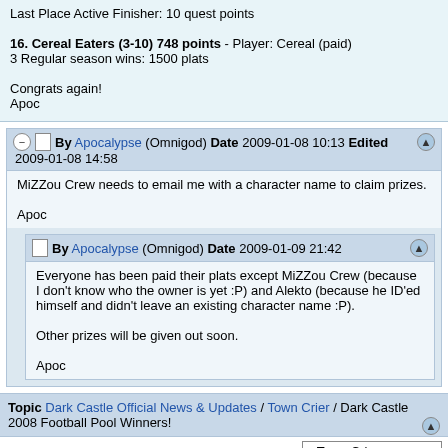Last Place Active Finisher: 10 quest points
16. Cereal Eaters (3-10) 748 points - Player: Cereal (paid)
3 Regular season wins: 1500 plats
Congrats again!
Apoc
By Apocalypse (Omnigod) Date 2009-01-08 10:13 Edited 2009-01-08 14:58
MiZZou Crew needs to email me with a character name to claim prizes.

Apoc
By Apocalypse (Omnigod) Date 2009-01-09 21:42
Everyone has been paid their plats except MiZZou Crew (because I don't know who the owner is yet :P) and Alekto (because he ID'ed himself and didn't leave an existing character name :P).

Other prizes will be given out soon.

Apoc
Topic Dark Castle Official News & Updates / Town Crier / Dark Castle 2008 Football Pool Winners!
- Town Crier